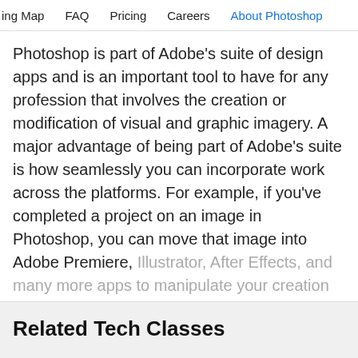ing Map   FAQ   Pricing   Careers   About Photoshop
Photoshop is part of Adobe’s suite of design apps and is an important tool to have for any profession that involves the creation or modification of visual and graphic imagery. A major advantage of being part of Adobe’s suite is how seamlessly you can incorporate work across the platforms. For example, if you’ve completed a project on an image in Photoshop, you can move that image into Adobe Premiere, Illustrator, After Effects, and many more apps to manipulate your creation into whatever you’d like.
Continue reading ∨
Related Tech Classes